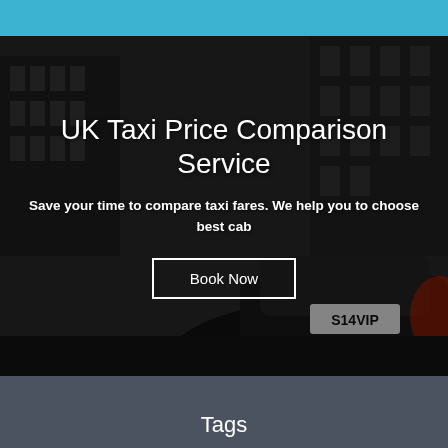UK Taxi Price Comparison Service
Save your time to compare taxi fares. We help you to choose best cab
Book Now
Tags